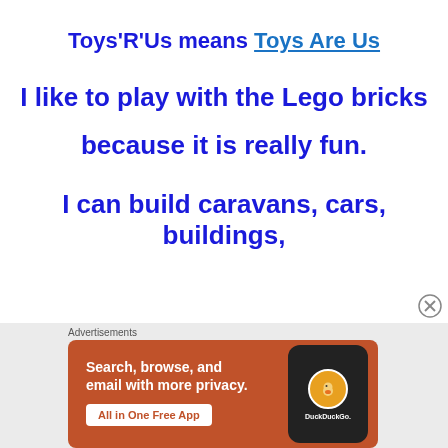Toys'R'Us means Toys Are Us
I like to play with the Lego bricks because it is really fun.
I can build caravans, cars, buildings,
[Figure (screenshot): DuckDuckGo advertisement banner with orange background showing 'Search, browse, and email with more privacy. All in One Free App' with a phone image and DuckDuckGo logo]